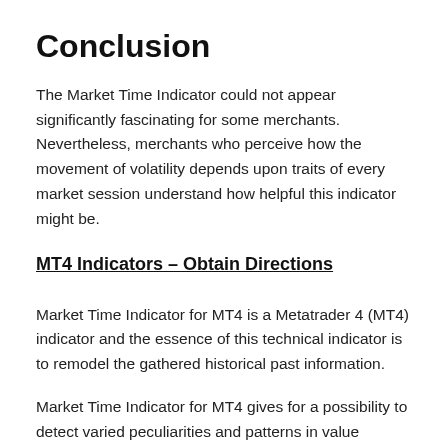Conclusion
The Market Time Indicator could not appear significantly fascinating for some merchants. Nevertheless, merchants who perceive how the movement of volatility depends upon traits of every market session understand how helpful this indicator might be.
MT4 Indicators – Obtain Directions
Market Time Indicator for MT4 is a Metatrader 4 (MT4) indicator and the essence of this technical indicator is to remodel the gathered historical past information.
Market Time Indicator for MT4 gives for a possibility to detect varied peculiarities and patterns in value dynamics